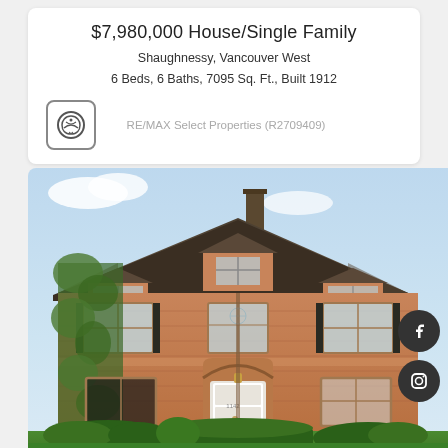$7,980,000 House/Single Family
Shaughnessy, Vancouver West
6 Beds, 6 Baths, 7095 Sq. Ft., Built 1912
RE/MAX Select Properties (R2709409)
[Figure (photo): Exterior photo of a large two-storey brick house with dark shingled hip roof, ivy-covered left side, white arched front door, multiple windows, chimney, and well-manicured hedges in the foreground.]